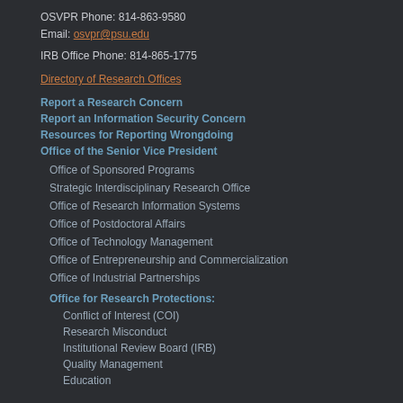OSVPR Phone: 814-863-9580
Email: osvpr@psu.edu
IRB Office Phone: 814-865-1775
Directory of Research Offices
Report a Research Concern
Report an Information Security Concern
Resources for Reporting Wrongdoing
Office of the Senior Vice President
Office of Sponsored Programs
Strategic Interdisciplinary Research Office
Office of Research Information Systems
Office of Postdoctoral Affairs
Office of Technology Management
Office of Entrepreneurship and Commercialization
Office of Industrial Partnerships
Office for Research Protections:
Conflict of Interest (COI)
Research Misconduct
Institutional Review Board (IRB)
Quality Management
Education